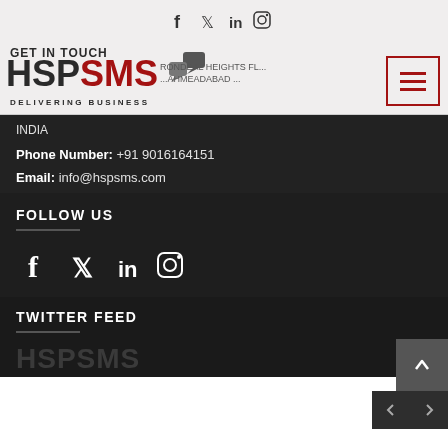[Figure (logo): HSPSMS logo with social media icons in top navigation bar]
GET IN TOUCH
[Figure (logo): HSPSMS Delivering Business logo with chat bubble icon and hamburger menu button]
INDIA
Phone Number: +91 9016164151
Email: info@hspsms.com
FOLLOW US
[Figure (illustration): Social media icons: Facebook, Twitter, LinkedIn, Instagram]
TWITTER FEED
HSPSMS